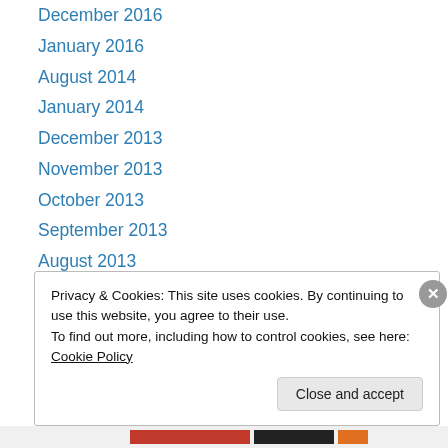December 2016
January 2016
August 2014
January 2014
December 2013
November 2013
October 2013
September 2013
August 2013
June 2013
May 2013
January 2013
March 2012
Privacy & Cookies: This site uses cookies. By continuing to use this website, you agree to their use. To find out more, including how to control cookies, see here: Cookie Policy